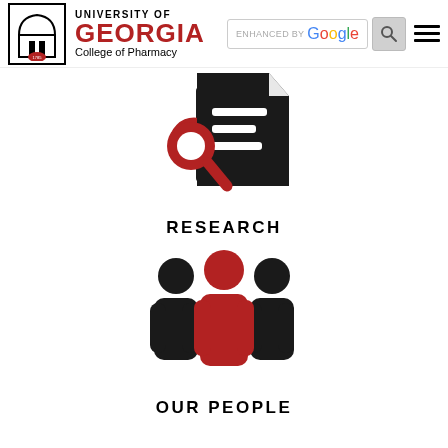[Figure (logo): University of Georgia College of Pharmacy logo with arch building icon and UGA seal]
[Figure (infographic): Search/research icon: red magnifying glass over black document with lines, representing Research]
RESEARCH
[Figure (infographic): Three people icon: center figure in red, two flanking figures in black, representing Our People]
OUR PEOPLE